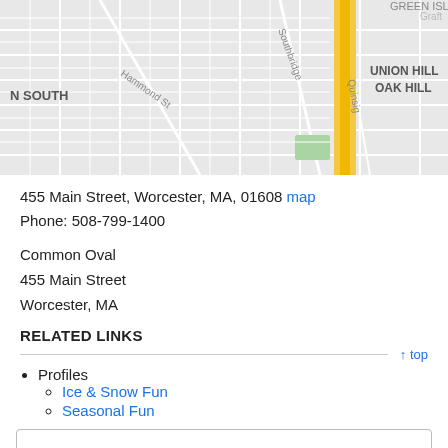[Figure (map): Street map showing N SOUTH, UNION HILL, OAK HILL, GREEN ISLAND neighborhoods with Hammond St, Southbridge St, Quinsig street labels and a yellow highway/route running north-south]
455 Main Street, Worcester, MA, 01608 map
Phone: 508-799-1400
Common Oval
455 Main Street
Worcester, MA
RELATED LINKS
Profiles
Ice & Snow Fun
Seasonal Fun
Info changes frequently. We cannot warrant it. Verify with Festival of Lights, Worcester before making the trek. If you find an error, please report it...